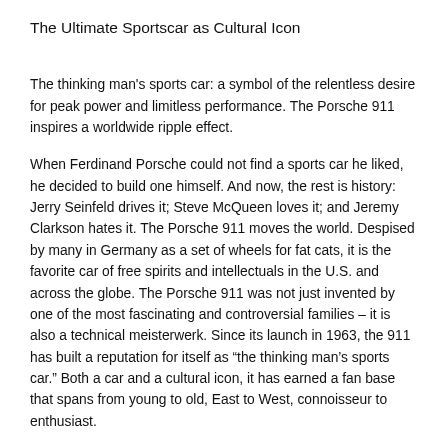The Ultimate Sportscar as Cultural Icon
The thinking man's sports car: a symbol of the relentless desire for peak power and limitless performance. The Porsche 911 inspires a worldwide ripple effect.
When Ferdinand Porsche could not find a sports car he liked, he decided to build one himself. And now, the rest is history: Jerry Seinfeld drives it; Steve McQueen loves it; and Jeremy Clarkson hates it. The Porsche 911 moves the world. Despised by many in Germany as a set of wheels for fat cats, it is the favorite car of free spirits and intellectuals in the U.S. and across the globe. The Porsche 911 was not just invented by one of the most fascinating and controversial families – it is also a technical meisterwerk. Since its launch in 1963, the 911 has built a reputation for itself as “the thinking man’s sports car.” Both a car and a cultural icon, it has earned a fan base that spans from young to old, East to West, connoisseur to enthusiast.
Porsche 911: The ultimate sportscar as cultural icon explains how this German car became a global phenomenon and a